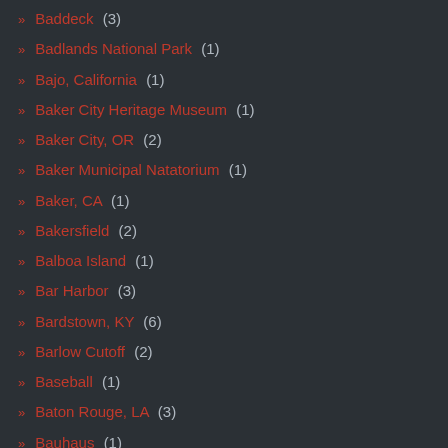Baddeck (3)
Badlands National Park (1)
Bajo, California (1)
Baker City Heritage Museum (1)
Baker City, OR (2)
Baker Municipal Natatorium (1)
Baker, CA (1)
Bakersfield (2)
Balboa Island (1)
Bar Harbor (3)
Bardstown, KY (6)
Barlow Cutoff (2)
Baseball (1)
Baton Rouge, LA (3)
Bauhaus (1)